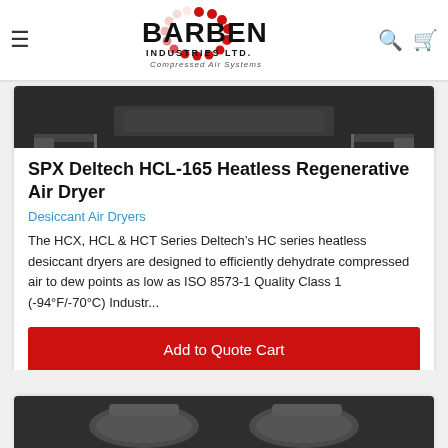BARBEN INDUSTRIES LTD. Compressed Air Systems
[Figure (screenshot): Product image strip showing air dryer equipment on dark background]
SPX Deltech HCL-165 Heatless Regenerative Air Dryer
Desiccant Air Dryers
The HCX, HCL & HCT Series Deltech’s HC series heatless desiccant dryers are designed to efficiently dehydrate compressed air to dew points as low as ISO 8573-1 Quality Class 1 (-94°F/-70°C) Industr...
Add to Quote Cart
[Figure (photo): Partial product image of compressed air equipment on dark background at bottom of page]